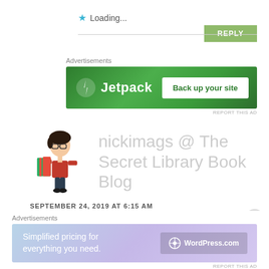★ Loading...
REPLY
[Figure (infographic): Jetpack advertisement banner with green background, Jetpack logo on left and 'Back up your site' button on right]
REPORT THIS AD
[Figure (illustration): Cartoon avatar of a person with glasses holding books, representing the blog author]
nickimags @ The Secret Library Book Blog
SEPTEMBER 24, 2019 AT 6:15 AM
[Figure (infographic): WordPress.com advertisement banner with gradient background, text 'Simplified pricing for everything you need.' and WordPress.com logo]
REPORT THIS AD